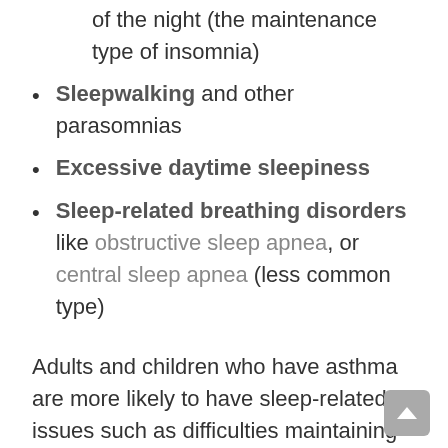of the night (the maintenance type of insomnia)
Sleepwalking and other parasomnias
Excessive daytime sleepiness
Sleep-related breathing disorders like obstructive sleep apnea, or central sleep apnea (less common type)
Adults and children who have asthma are more likely to have sleep-related issues such as difficulties maintaining sleep, lower quality of sleep and excessive sleepiness due to those